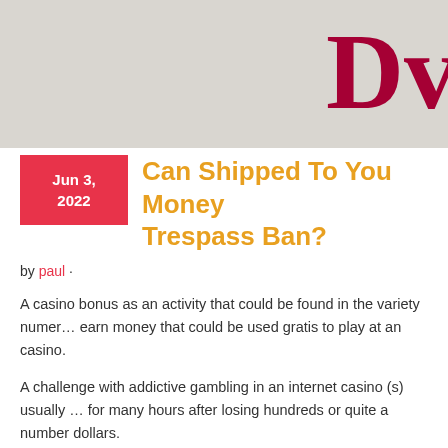Dv
Can Shipped To You Money Trespass Ban?
Jun 3, 2022
by paul ·
A casino bonus as an activity that could be found in the variety numer... earn money that could be used gratis to play at an casino.
A challenge with addictive gambling in an internet casino (s) usually ... for many hours after losing hundreds or quite a number dollars.
Baccarat. In an effort to play mafia wars the player makes a bet before... winning. From there the cards are dealt and the sport continues until t...